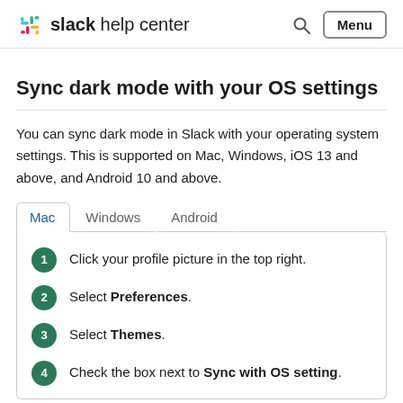slack help center
Sync dark mode with your OS settings
You can sync dark mode in Slack with your operating system settings. This is supported on Mac, Windows, iOS 13 and above, and Android 10 and above.
1. Click your profile picture in the top right.
2. Select Preferences.
3. Select Themes.
4. Check the box next to Sync with OS setting.